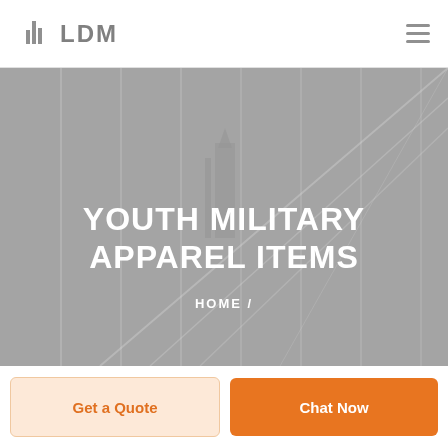[Figure (logo): LDM logo with building/skyscraper icon in gray and bold gray text 'LDM']
[Figure (screenshot): Hero banner with gray architectural background image showing building structures. Contains centered white uppercase text 'YOUTH MILITARY APPAREL ITEMS' and breadcrumb navigation 'HOME /']
HOME /
Get a Quote
Chat Now